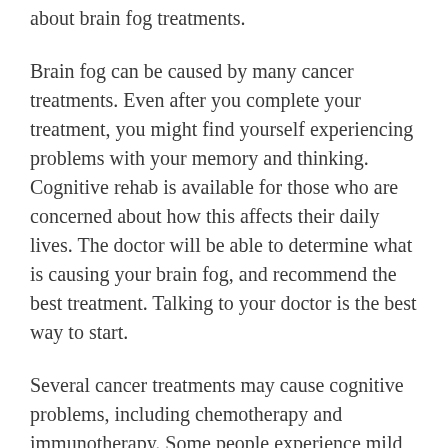about brain fog treatments.
Brain fog can be caused by many cancer treatments. Even after you complete your treatment, you might find yourself experiencing problems with your memory and thinking. Cognitive rehab is available for those who are concerned about how this affects their daily lives. The doctor will be able to determine what is causing your brain fog, and recommend the best treatment. Talking to your doctor is the best way to start.
Several cancer treatments may cause cognitive problems, including chemotherapy and immunotherapy. Some people experience mild cognitive problems after chemotherapy, while others experience more severe difficulties. The